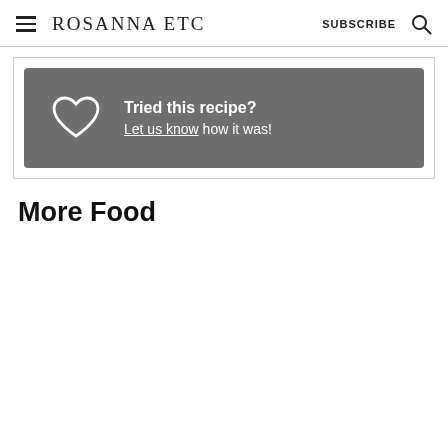Rosanna ETC  SUBSCRIBE
[Figure (infographic): Grey rounded banner with a white heart outline icon on the left, and text 'Tried this recipe? Let us know how it was!' in white on the right.]
More Food